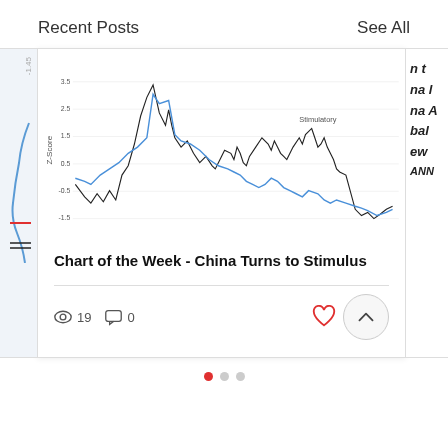Recent Posts
See All
[Figure (continuous-plot): Line chart titled 'Stimulatory' showing two lines (black and blue) of Z-Score values over time, ranging from approximately -1.5 to 3.5 on the y-axis. The blue line represents a smoother trend and the black line shows more volatility. Y-axis label: Z-Score.]
Chart of the Week - China Turns to Stimulus
19
0